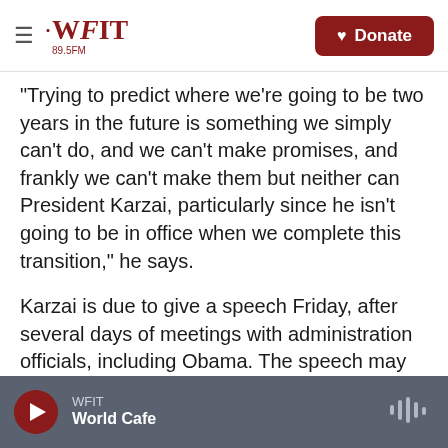WFIT 89.5FM | Donate
"Trying to predict where we're going to be two years in the future is something we simply can't do, and we can't make promises, and frankly we can't make them but neither can President Karzai, particularly since he isn't going to be in office when we complete this transition," he says.
Karzai is due to give a speech Friday, after several days of meetings with administration officials, including Obama. The speech may be an opportunity to gauge how talks fared between the two leaders.
WFIT | World Cafe